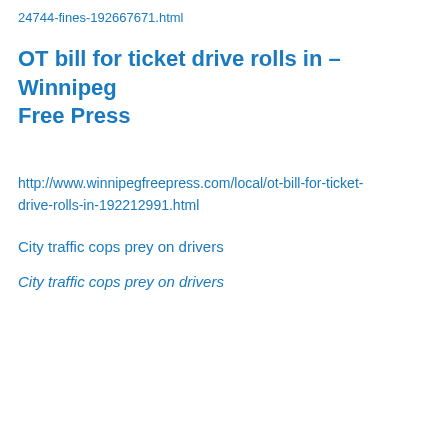24744-fines-192667671.html
OT bill for ticket drive rolls in – Winnipeg Free Press
http://www.winnipegfreepress.com/local/ot-bill-for-ticket-drive-rolls-in-192212991.html
City traffic cops prey on drivers
City traffic cops prey on drivers